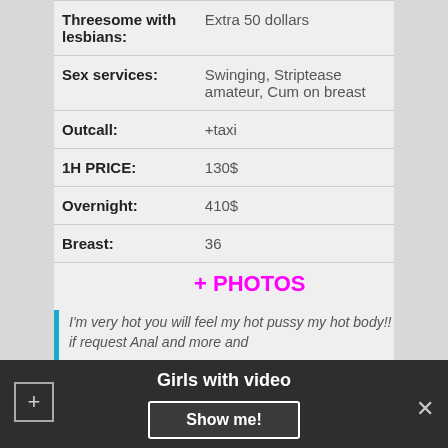| Field | Value |
| --- | --- |
| Threesome with lesbians: | Extra 50 dollars |
| Sex services: | Swinging, Striptease amateur, Cum on breast |
| Outcall: | +taxi |
| 1H PRICE: | 130$ |
| Overnight: | 410$ |
| Breast: | 36 |
+ PHOTOS
I'm very hot you will feel my hot pussy my hot body!! if request Anal and more and
Girls with video
Show me!